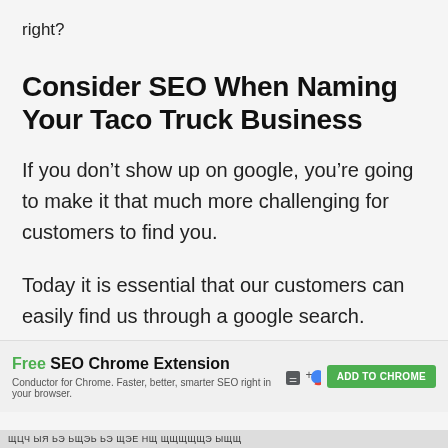right?
Consider SEO When Naming Your Taco Truck Business
If you don't show up on google, you're going to make it that much more challenging for customers to find you.
Today it is essential that our customers can easily find us through a google search.
[Figure (other): Advertisement banner for Free SEO Chrome Extension by Conductor. Shows green ADD TO CHROME button and browser extension icons.]